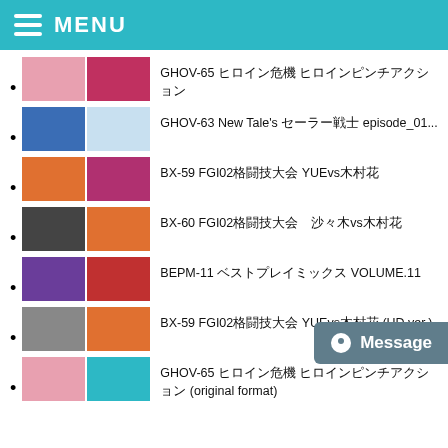MENU
GHOV-65 ヒロイン危機 ヒロインピンチアクション
GHOV-63 New Tale's セーラー戦士 episode_01...
BX-59 FGI02格闘技大会 YUEvs木村花
BX-60 FGI02格闘技大会　沙々木vs木村花
BEPM-11 ベストプレイミックス VOLUME.11
BX-59 FGI02格闘技大会 YUEvs木村花 (HD ver.)
GHOV-65 ヒロイン危機 ヒロインピンチアクション (original format)